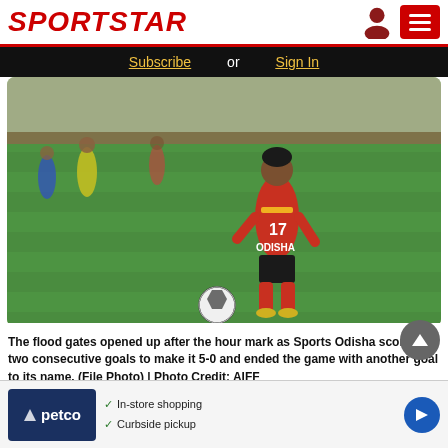SPORTSTAR
Subscribe or Sign In
[Figure (photo): A female footballer wearing a red and black Odisha jersey with number 17, dribbling a soccer ball on a green pitch during a match. Other players visible in background.]
The flood gates opened up after the hour mark as Sports Odisha scored two consecutive goals to make it 5-0 and ended the game with another goal to its name. (File Photo) | Photo Credit: AIFF
[Figure (other): Petco advertisement banner showing 'In-store shopping' and 'Curbside pickup' checkmarks with Petco logo and a navigation arrow icon]